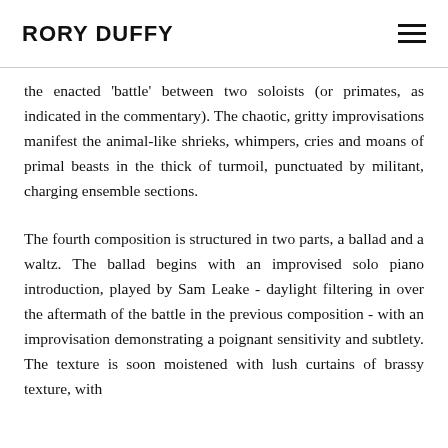RORY DUFFY
the enacted 'battle' between two soloists (or primates, as indicated in the commentary). The chaotic, gritty improvisations manifest the animal-like shrieks, whimpers, cries and moans of primal beasts in the thick of turmoil, punctuated by militant, charging ensemble sections.
The fourth composition is structured in two parts, a ballad and a waltz. The ballad begins with an improvised solo piano introduction, played by Sam Leake - daylight filtering in over the aftermath of the battle in the previous composition - with an improvisation demonstrating a poignant sensitivity and subtlety. The texture is soon moistened with lush curtains of brassy texture, with